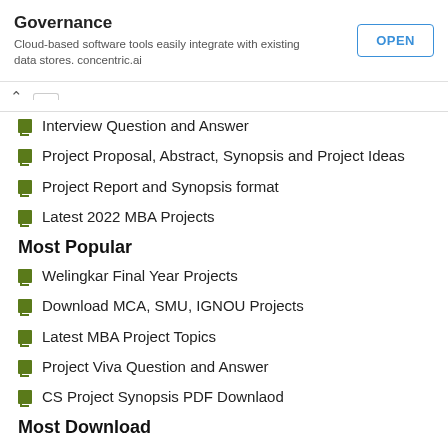[Figure (screenshot): Advertisement banner for Governance cloud-based software by concentric.ai with an OPEN button]
Interview Question and Answer
Project Proposal, Abstract, Synopsis and Project Ideas
Project Report and Synopsis format
Latest 2022 MBA Projects
Most Popular
Welingkar Final Year Projects
Download MCA, SMU, IGNOU Projects
Latest MBA Project Topics
Project Viva Question and Answer
CS Project Synopsis PDF Downlaod
Most Download